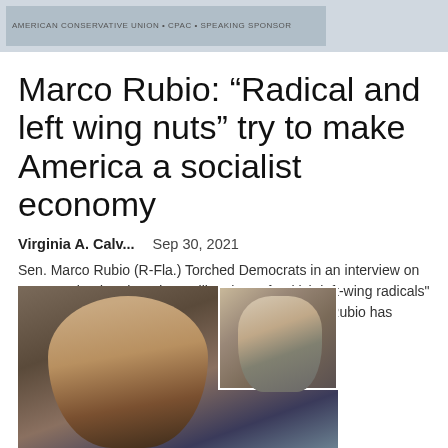[Figure (screenshot): Top banner/header of a news website showing navigation or branding bar]
Marco Rubio: “Radical and left wing nuts” try to make America a socialist economy
Virginia A. Calv...    Sep 30, 2021
Sen. Marco Rubio (R-Fla.) Torched Democrats in an interview on "Fox & Friends" Thursday, calling them "freakish left-wing radicals" because of their massive spending spurt. Senator Rubio has argued that they are trying to "remake...
[Figure (photo): Photo of a woman speaking at a podium with an inset photo of a man in a suit speaking into a microphone]